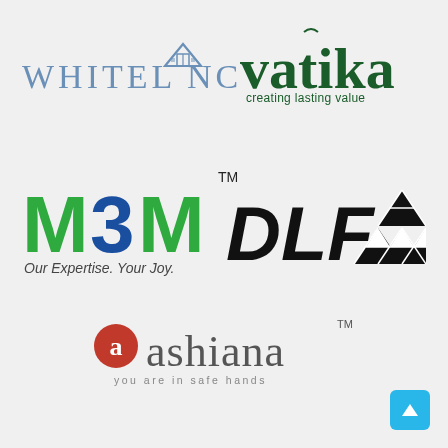[Figure (logo): WHITELAND real estate logo — uppercase spaced letters in steel blue with a small house/building icon replacing the A]
[Figure (logo): Vatika logo — dark green serif bold lowercase 'vatika' with tagline 'creating lasting value']
[Figure (logo): M3M logo — green M, blue 3, green M in large bold font with TM mark, tagline 'Our Expertise. Your Joy.']
[Figure (logo): DLF logo — bold black italic DLF letters with triangle/pyramid geometric pattern beside it]
[Figure (logo): Ashiana logo — red stylized 'a' icon followed by 'ashiana' in grey serif with TM, tagline 'you are in safe hands']